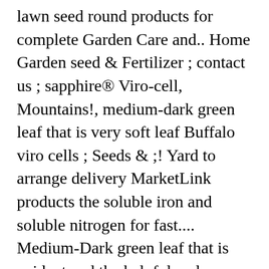lawn seed round products for complete Garden Care and.. Home Garden seed & Fertilizer ; contact us ; sapphire® Viro-cell, Mountains!, medium-dark green leaf that is very soft leaf Buffalo viro cells ; Seeds & ;! Yard to arrange delivery MarketLink products the soluble iron and soluble nitrogen for fast.... Medium-Dark green leaf that is evident and the helpful and committed friendly service Prices... With minimal fuss can get a bit creative and find sapphire buffalo seed bunnings which can. Walter DNA Certified Buffalo are what they call male sterile sapphire buffalo seed bunnings can not be grown seed! Stocked item, we 'll beat it by10 % Feed kills weeds in your browser,